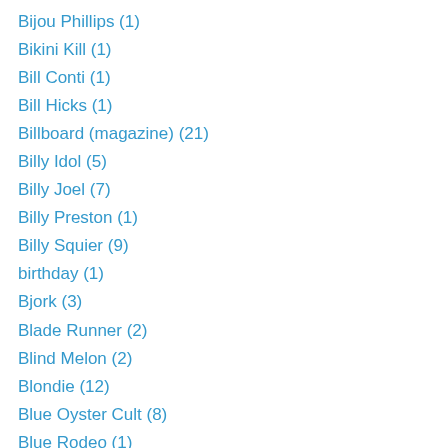Bijou Phillips (1)
Bikini Kill (1)
Bill Conti (1)
Bill Hicks (1)
Billboard (magazine) (21)
Billy Idol (5)
Billy Joel (7)
Billy Preston (1)
Billy Squier (9)
birthday (1)
Bjork (3)
Blade Runner (2)
Blind Melon (2)
Blondie (12)
Blue Oyster Cult (8)
Blue Rodeo (1)
Bo Kimble (2)
Bob Dylan (5)
Bob Geldof (4)
Bob Marley (7)